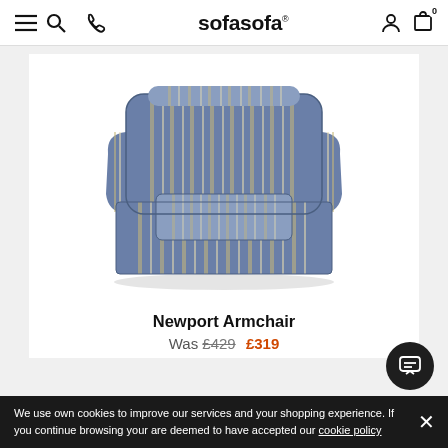sofasofa
[Figure (photo): Newport Armchair upholstered in blue and cream vertical stripe fabric, with rounded arms and a loose cushion seat, product photo on white background]
Newport Armchair
Was £429  £319
We use own cookies to improve our services and your shopping experience. If you continue browsing your are deemed to have accepted our cookie policy